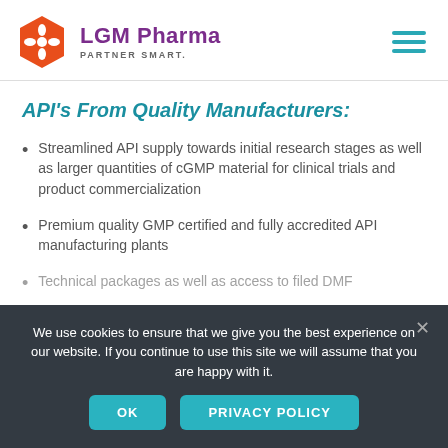LGM Pharma PARTNER SMART.
API's From Quality Manufacturers:
Streamlined API supply towards initial research stages as well as larger quantities of cGMP material for clinical trials and product commercialization
Premium quality GMP certified and fully accredited API manufacturing plants
Technical packages as well as access to filed DMF
We use cookies to ensure that we give you the best experience on our website. If you continue to use this site we will assume that you are happy with it.